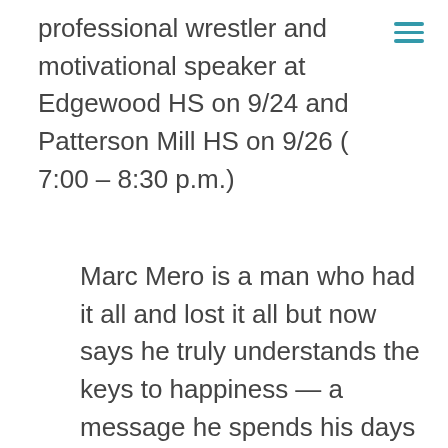professional wrestler and motivational speaker at Edgewood HS on 9/24 and Patterson Mill HS on 9/26 ( 7:00 – 8:30 p.m.)
Marc Mero is a man who had it all and lost it all but now says he truly understands the keys to happiness — a message he spends his days sharing with youth across the country.